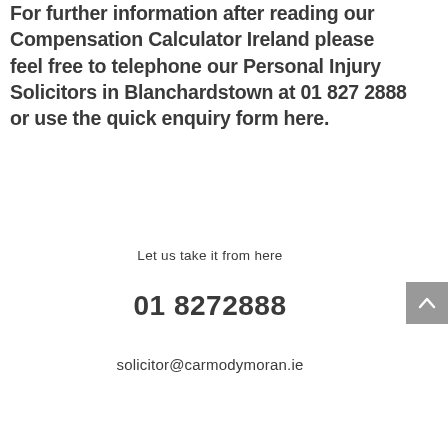For further information after reading our Compensation Calculator Ireland please feel free to telephone our Personal Injury Solicitors in Blanchardstown at 01 827 2888 or use the quick enquiry form here.
Let us take it from here
01 8272888
solicitor@carmodymoran.ie